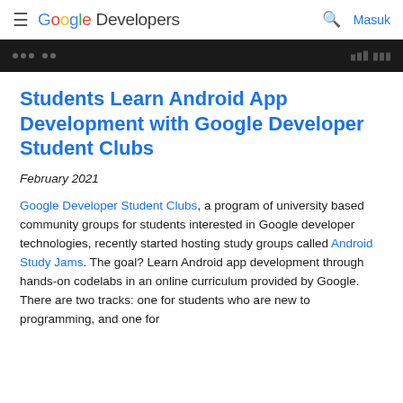≡ Google Developers  🔍 Masuk
[Figure (screenshot): Dark browser/app screenshot strip at top of page]
Students Learn Android App Development with Google Developer Student Clubs
February 2021
Google Developer Student Clubs, a program of university based community groups for students interested in Google developer technologies, recently started hosting study groups called Android Study Jams. The goal? Learn Android app development through hands-on codelabs in an online curriculum provided by Google. There are two tracks: one for students who are new to programming, and one for